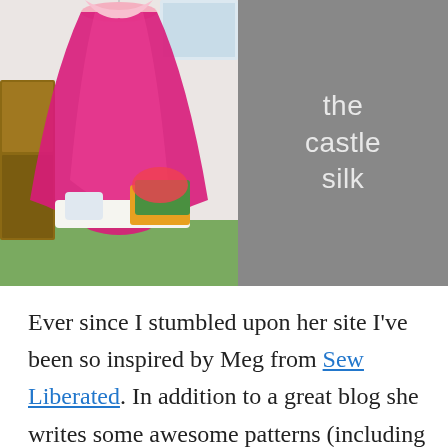[Figure (photo): A pink/magenta fabric canopy draped from the ceiling in the corner of a children's room, creating a tent-like play space with cushions and toys. The right half of the image is a gray overlay with the text 'the castle silk' in white.]
Ever since I stumbled upon her site I've been so inspired by Meg from Sew Liberated. In addition to a great blog she writes some awesome patterns (including this one that I've